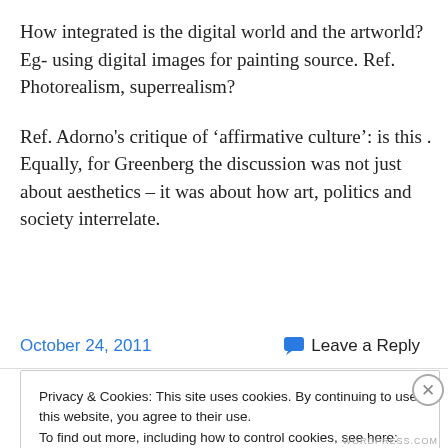How integrated is the digital world and the artworld? Eg- using digital images for painting source. Ref. Photorealism, superrealism?
Ref. Adorno's critique of 'affirmative culture': is this . Equally, for Greenberg the discussion was not just about aesthetics – it was about how art, politics and society interrelate.
October 24, 2011
Leave a Reply
Privacy & Cookies: This site uses cookies. By continuing to use this website, you agree to their use.
To find out more, including how to control cookies, see here: Cookie Policy